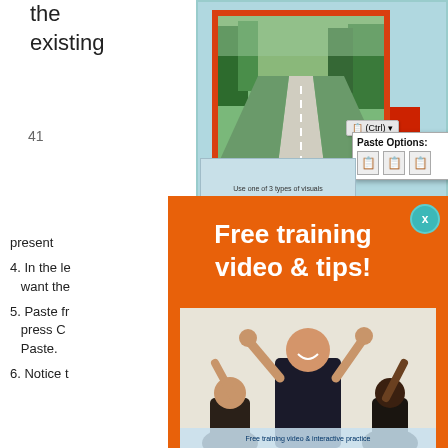the existing
[Figure (screenshot): Screenshot showing a PowerPoint slide with a road photo in a red-bordered frame, with Paste Options dialog visible and a red arrow pointing down to it]
41
present
4. In the le want the
5. Paste fr press C Paste.
6. Notice t
[Figure (infographic): Orange promotional overlay with 'Free training video & tips!' text and a photo of a smiling trainer with raised hands among an audience]